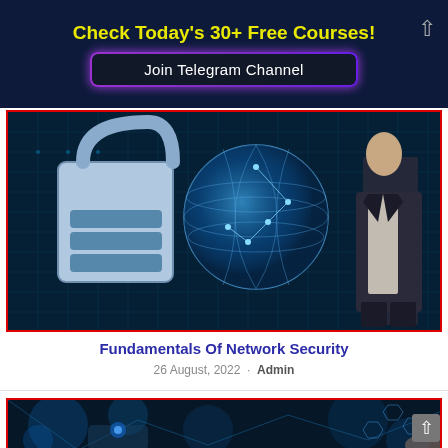Check Today's 30+ Free Courses!
Join Telegram Channel
[Figure (photo): Cybersecurity themed image showing a combination padlock, a glowing blue holographic earth globe on a circuit board background, with a man in a suit standing to the right]
Fundamentals Of Network Security
26 August, 2022 · Admin
[Figure (photo): Technology themed image showing a hand touching a digital network interface with glowing icons, blue bokeh background, and a person visible at lower right]